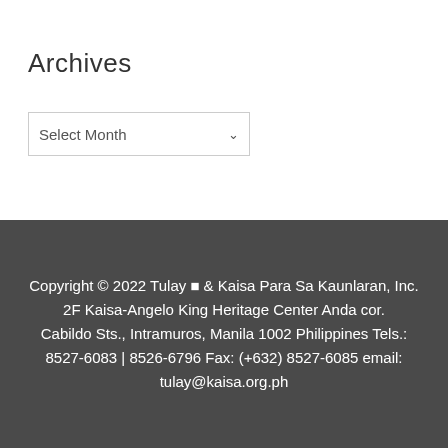Archives
Select Month
Copyright © 2022 Tulay ⬛ & Kaisa Para Sa Kaunlaran, Inc. 2F Kaisa-Angelo King Heritage Center Anda cor. Cabildo Sts., Intramuros, Manila 1002 Philippines Tels.: 8527-6083 | 8526-6796 Fax: (+632) 8527-6085 email: tulay@kaisa.org.ph